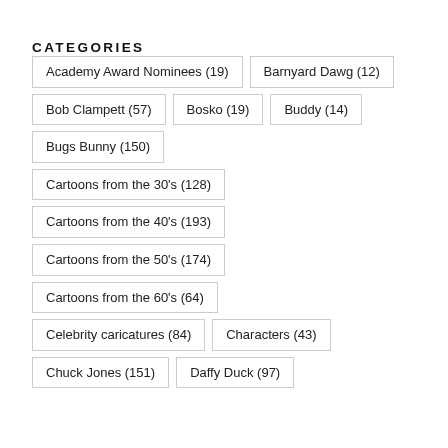CATEGORIES
Academy Award Nominees (19)
Barnyard Dawg (12)
Bob Clampett (57)
Bosko (19)
Buddy (14)
Bugs Bunny (150)
Cartoons from the 30's (128)
Cartoons from the 40's (193)
Cartoons from the 50's (174)
Cartoons from the 60's (64)
Celebrity caricatures (84)
Characters (43)
Chuck Jones (151)
Daffy Duck (97)